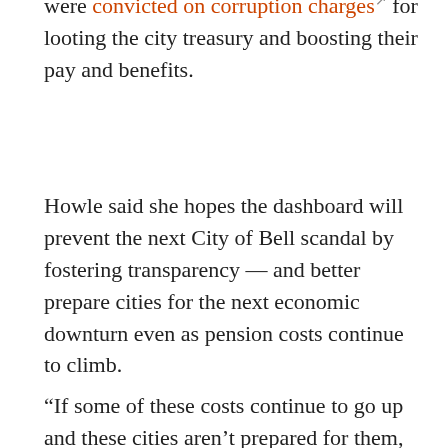were convicted on corruption charges for looting the city treasury and boosting their pay and benefits.
Howle said she hopes the dashboard will prevent the next City of Bell scandal by fostering transparency — and better prepare cities for the next economic downturn even as pension costs continue to climb.
“If some of these costs continue to go up and these cities aren’t prepared for them, will they have to